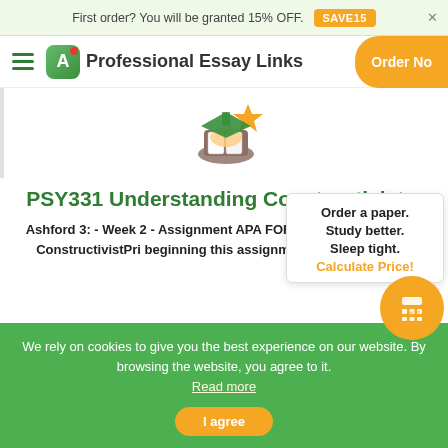First order? You will be granted 15% OFF. SAVE15
Professional Essay Links  Order Now
[Figure (illustration): Decorative illustration of a graduation cap with stars]
PSY331 Understanding Constructivist...
Ashford 3: - Week 2 - Assignment APA FORMATUnderstanding a ConstructivistPri beginning this assignment, please review a
Order a paper. Study better. Sleep tight. Calculate Price!
We rely on cookies to give you the best experience on our website. By browsing the website, you agree to it. Read more
I agree